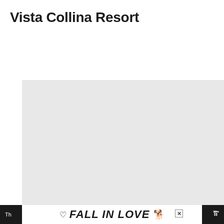Vista Collina Resort
[Figure (photo): Large light gray placeholder image rectangle representing a photo of Vista Collina Resort]
[Figure (screenshot): Advertisement bar at the bottom showing 'FALL IN LOVE' text with a heart icon and a person wearing headphones, overlaid on dark background]